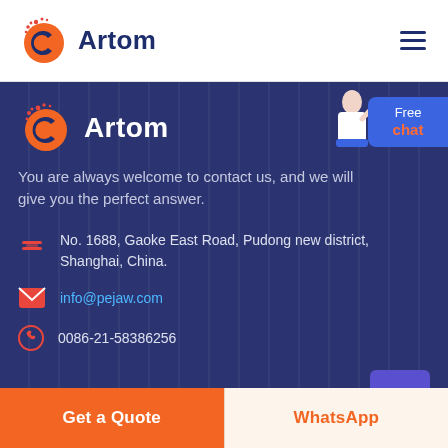Artom
[Figure (logo): Artom logo with orange C icon and dark blue brand name text in dark section]
You are always welcome to contact us, and we will give you the perfect answer.
No. 1688, Gaoke East Road, Pudong new district, Shanghai, China.
info@pejaw.com
0086-21-58386256
Get a Quote
WhatsApp